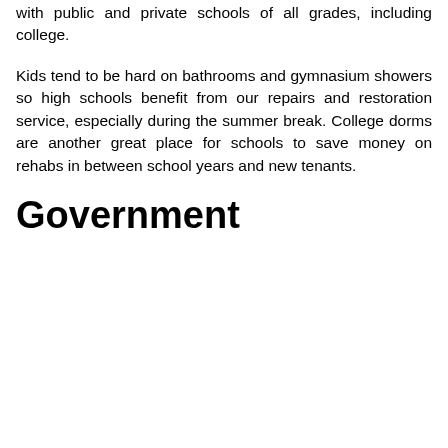with public and private schools of all grades, including college.
Kids tend to be hard on bathrooms and gymnasium showers so high schools benefit from our repairs and restoration service, especially during the summer break. College dorms are another great place for schools to save money on rehabs in between school years and new tenants.
Government